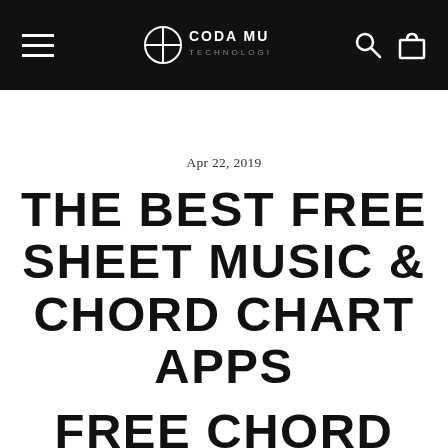CODA MUSIC TECHNOLOGIES
Apr 22, 2019
THE BEST FREE SHEET MUSIC & CHORD CHART APPS
FREE CHORD